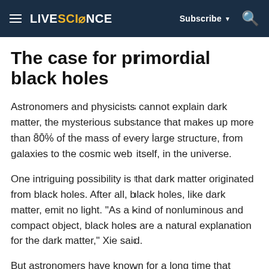LIVESCIENCE  Subscribe  🔍
The case for primordial black holes
Astronomers and physicists cannot explain dark matter, the mysterious substance that makes up more than 80% of the mass of every large structure, from galaxies to the cosmic web itself, in the universe.
One intriguing possibility is that dark matter originated from black holes. After all, black holes, like dark matter, emit no light. "As a kind of nonluminous and compact object, black holes are a natural explanation for the dark matter," Xie said.
But astronomers have known for a long time that